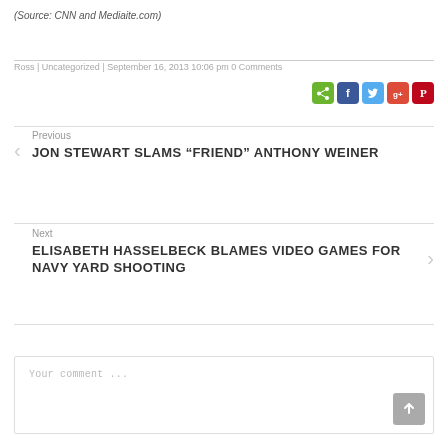(Source: CNN and Mediaite.com)
Ross | Uncategorized | September 16, 2013 10:06 pm 0 Comments
[Figure (infographic): Social sharing icons: ShareThis (green), Facebook (blue), Twitter (light blue), Google+ (red), Pinterest (dark red)]
Previous
JON STEWART SLAMS “FRIEND” ANTHONY WEINER
Next
ELISABETH HASSELBECK BLAMES VIDEO GAMES FOR NAVY YARD SHOOTING
Your comment ...